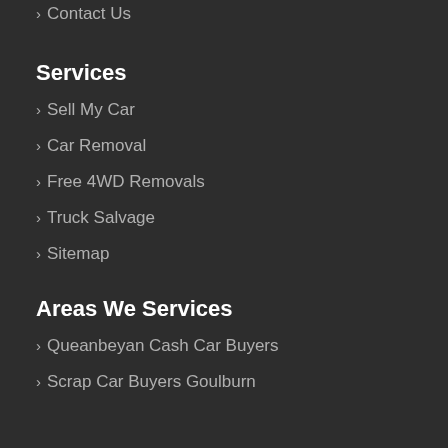Contact Us
Services
Sell My Car
Car Removal
Free 4WD Removals
Truck Salvage
Sitemap
Areas We Services
Queanbeyan Cash Car Buyers
Scrap Car Buyers Goulburn